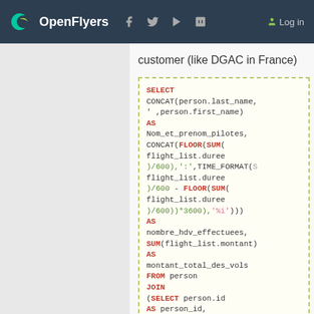OpenFlyers | Log in
customer (like DGAC in France)